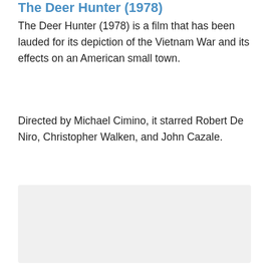The Deer Hunter (1978)
The Deer Hunter (1978) is a film that has been lauded for its depiction of the Vietnam War and its effects on an American small town.
Directed by Michael Cimino, it starred Robert De Niro, Christopher Walken, and John Cazale.
[Figure (photo): Empty light gray placeholder box for an image related to The Deer Hunter (1978)]